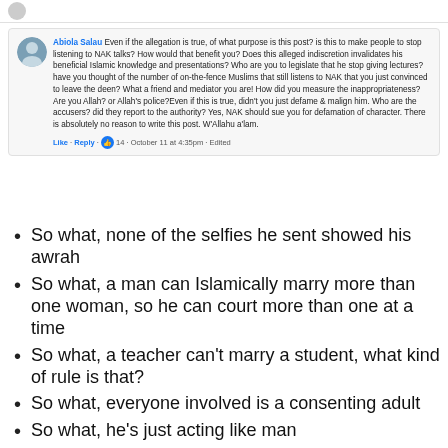[Figure (screenshot): Facebook comment by Abiola Salau with profile picture avatar]
Abiola Salau Even if the allegation is true, of what purpose is this post? is this to make people to stop listening to NAK talks? How would that benefit you? Does this alleged indiscretion invalidates his beneficial Islamic knowledge and presentations? Who are you to legislate that he stop giving lectures? have you thought of the number of on-the-fence Muslims that still listens to NAK that you just convinced to leave the deen? What a friend and mediator you are! How did you measure the inappropriateness? Are you Allah? or Allah's police?Even if this is true, didn't you just defame & malign him. Who are the accusers? did they report to the authority? Yes, NAK should sue you for defamation of character. There is absolutely no reason to write this post. W'Allahu a'lam.
Like · Reply · 14 · October 11 at 4:35pm · Edited
So what, none of the selfies he sent showed his awrah
So what, a man can Islamically marry more than one woman, so he can court more than one at a time
So what, a teacher can't marry a student, what kind of rule is that?
So what, everyone involved is a consenting adult
So what, he's just acting like man